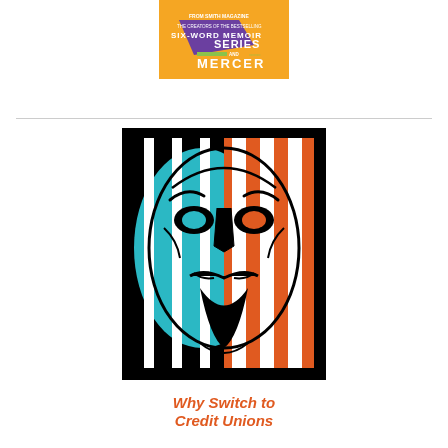[Figure (illustration): Book cover image with orange background, 'SIX-WORD MEMOIR SERIES AND MERCER' text]
[Figure (illustration): Guy Fawkes / Anonymous style mask graphic with teal/blue and orange-red American flag stripe coloring on black background]
Why Switch to Credit Unions